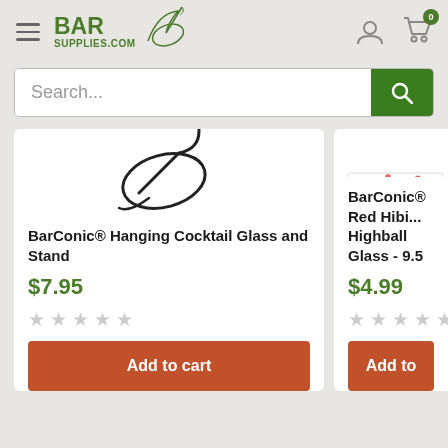[Figure (screenshot): BarSupplies.com website header with hamburger menu, logo, user icon, and cart icon with badge showing 0]
Search...
[Figure (illustration): BarConic Hanging Cocktail Glass and Stand product image showing stylized cocktail glass silhouette]
BarConic® Hanging Cocktail Glass and Stand
$7.95
[Figure (illustration): BarConic Red Hibiscus Highball Glass 9.5 product image partially visible]
BarConic® Red Hibi... Highball Glass - 9.5
$4.99